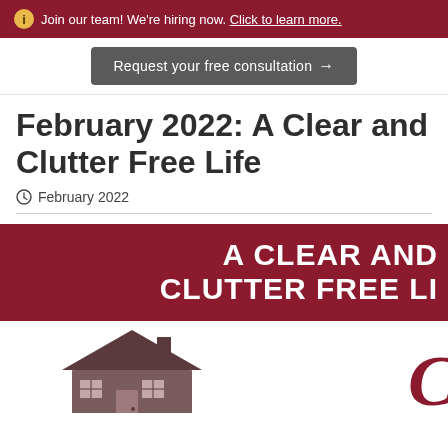Join our team! We're hiring now. Click to learn more.
Request your free consultation →
February 2022: A Clear and Clutter Free Life
February 2022
[Figure (infographic): Dark red banner with large white bold text reading 'A CLEAR AND CLUTTER FREE LI' (clipped)]
[Figure (illustration): House illustration in grey/brown tones with a partial cursive red logo text on the right]